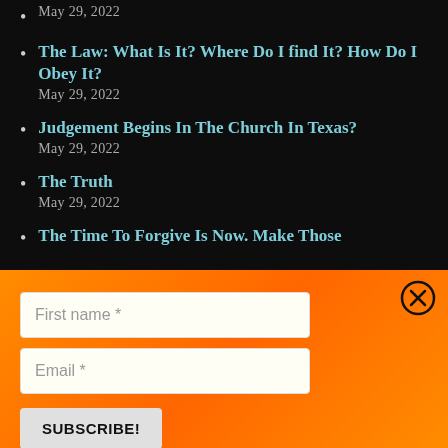May 29, 2022
The Law: What Is It? Where Do I find It? How Do I Obey It?
May 29, 2022
Judgement Begins In The Church In Texas?
May 29, 2022
The Truth
May 29, 2022
The Time To Forgive Is Now. Make Those
First name *
Email *
SUBSCRIBE!